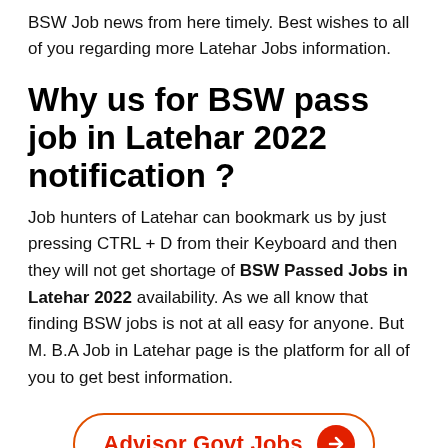BSW Job news from here timely. Best wishes to all of you regarding more Latehar Jobs information.
Why us for BSW pass job in Latehar 2022 notification ?
Job hunters of Latehar can bookmark us by just pressing CTRL + D from their Keyboard and then they will not get shortage of BSW Passed Jobs in Latehar 2022 availability. As we all know that finding BSW jobs is not at all easy for anyone. But M. B.A Job in Latehar page is the platform for all of you to get best information.
[Figure (other): Call-to-action button with text 'Advisor Govt Jobs' and a red arrow circle, inside an orange-red rounded rectangle border.]